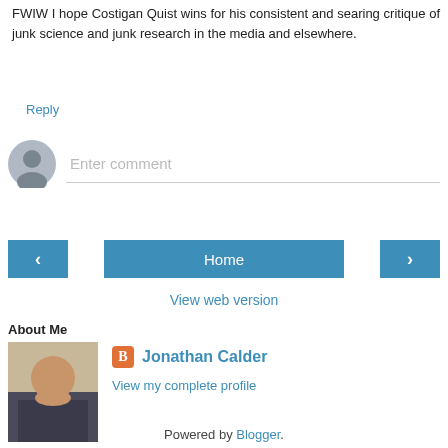FWIW I hope Costigan Quist wins for his consistent and searing critique of junk science and junk research in the media and elsewhere.
Reply
[Figure (other): Comment input area with user avatar (grey person icon) and text field saying 'Enter comment']
[Figure (other): Navigation buttons: left arrow, Home, right arrow]
View web version
About Me
[Figure (photo): Profile photo of Jonathan Calder, a middle-aged man in a dark jacket]
Jonathan Calder
View my complete profile
Powered by Blogger.